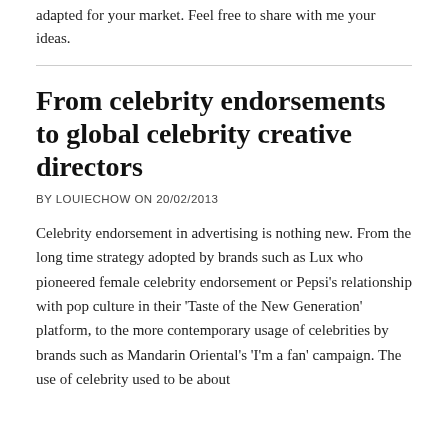adapted for your market. Feel free to share with me your ideas.
From celebrity endorsements to global celebrity creative directors
BY LOUIECHOW ON 20/02/2013
Celebrity endorsement in advertising is nothing new. From the long time strategy adopted by brands such as Lux who pioneered female celebrity endorsement or Pepsi's relationship with pop culture in their 'Taste of the New Generation' platform, to the more contemporary usage of celebrities by brands such as Mandarin Oriental's 'I'm a fan' campaign. The use of celebrity used to be about